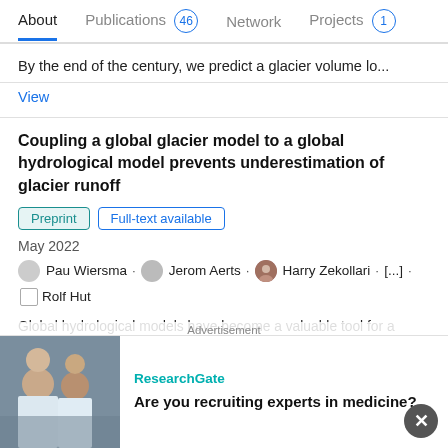About | Publications 46 | Network | Projects 1
By the end of the century, we predict a glacier volume lo...
View
Coupling a global glacier model to a global hydrological model prevents underestimation of glacier runoff
Preprint | Full-text available
May 2022
Pau Wiersma · Jerom Aerts · Harry Zekollari · [...] · Rolf Hut
Global hydrological models have become a valuable tool for a range of global impact studies related to water resources. However, glacier parameterization is often simplistic or non-existent in global hydrological models. By contrast, global glacier models do represent complex glacier dynamics and
Advertisement
[Figure (screenshot): Advertisement overlay showing ResearchGate logo and text 'Are you recruiting experts in medicine?' with a photo of people in lab coats and a close button.]